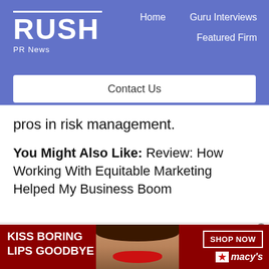RUSH PR News — Home | Guru Interviews | Featured Firm | Contact Us
pros in risk management.
You Might Also Like: Review: How Working With Equitable Marketing Helped My Business Boom
[Figure (other): Advertisement banner: KISS BORING LIPS GOODBYE — Macy's lipstick ad with woman's face and red lips, SHOP NOW button and Macy's star logo]